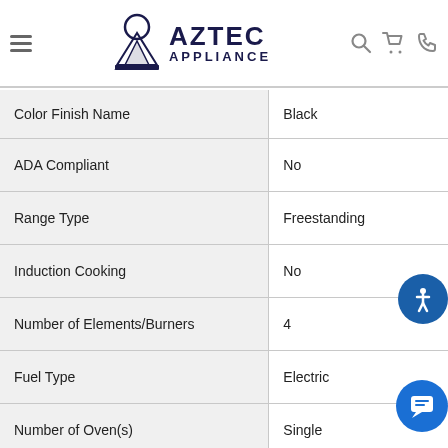Aztec Appliance
| Attribute | Value |
| --- | --- |
| Color Finish Name | Black |
| ADA Compliant | No |
| Range Type | Freestanding |
| Induction Cooking | No |
| Number of Elements/Burners | 4 |
| Fuel Type | Electric |
| Number of Oven(s) | Single |